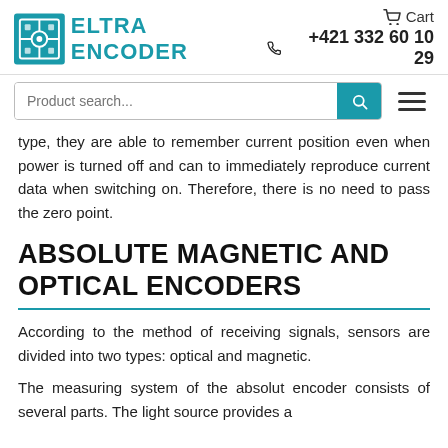ELTRA ENCODER | Cart | +421 332 60 10 29
type, they are able to remember current position even when power is turned off and can to immediately reproduce current data when switching on. Therefore, there is no need to pass the zero point.
ABSOLUTE MAGNETIC AND OPTICAL ENCODERS
According to the method of receiving signals, sensors are divided into two types: optical and magnetic.
The measuring system of the absolut encoder consists of several parts. The light source provides a